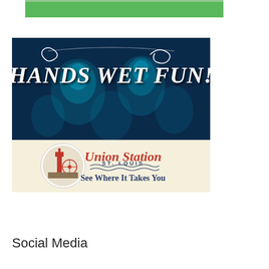[Figure (illustration): Advertisement for Union Station St. Louis. Top portion shows dark blue background with glowing jellyfish and white decorative script text reading 'HANDS WET FUN!'. Bottom portion has cream/beige background with circular Union Station logo showing a tower and Ferris wheel, next to red script text 'Union Station' with 'ST. LOUIS' in navy and 'See Where It Takes You' below.]
Social Media